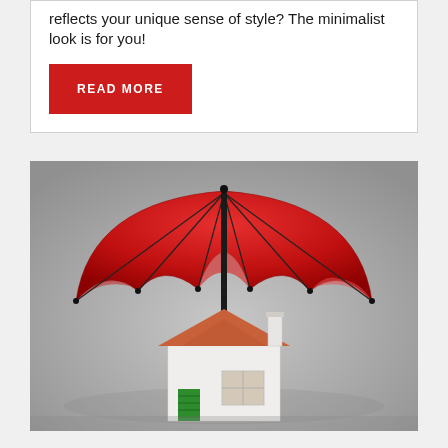reflects your unique sense of style? The minimalist look is for you!
READ MORE
[Figure (photo): A red umbrella sheltering a small white model house with an orange roof and green fence, on a grey background — symbolizing home insurance protection.]